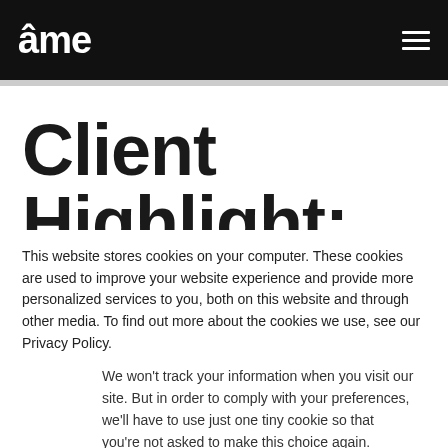âme
Client Highlight:
This website stores cookies on your computer. These cookies are used to improve your website experience and provide more personalized services to you, both on this website and through other media. To find out more about the cookies we use, see our Privacy Policy.
We won't track your information when you visit our site. But in order to comply with your preferences, we'll have to use just one tiny cookie so that you're not asked to make this choice again.
Accept
Decline